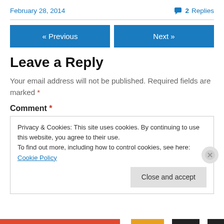February 28, 2014    💬 2 Replies
« Previous   Next »
Leave a Reply
Your email address will not be published. Required fields are marked *
Comment *
Privacy & Cookies: This site uses cookies. By continuing to use this website, you agree to their use.
To find out more, including how to control cookies, see here: Cookie Policy
Close and accept